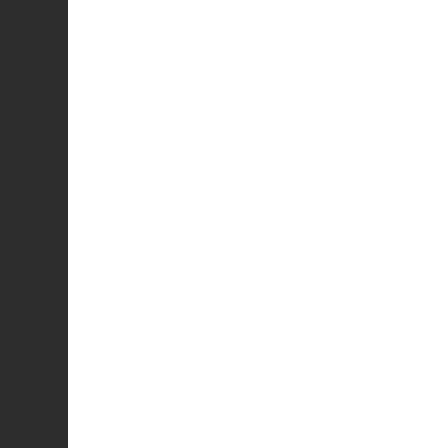| Mo… |
| --- |
| Tes… |
| 1st… |
| 3rd… |
| 5th… |
| 7th… |